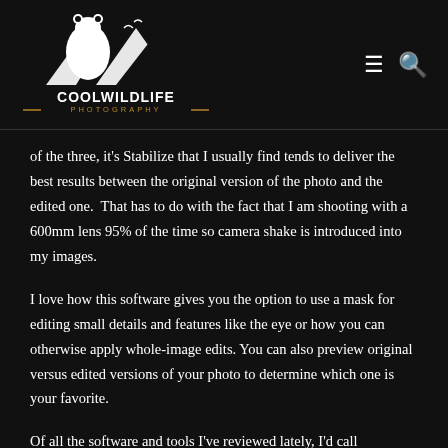[Figure (logo): Cool Wildlife Photography logo with bear and mountains silhouette in white on dark background, with text COOLWILDLIFE PHOTOGRAPHY]
of the three, it's Stabilize that I usually find tends to deliver the best results between the original version of the photo and the edited one.  That has to do with the fact that I am shooting with a 600mm lens 95% of the time so camera shake is introduced into my images.
I love how this software gives you the option to use a mask for editing small details and features like the eye or how you can otherwise apply whole-image edits. You can also preview original versus edited versions of your photo to determine which one is your favorite.
Of all the software and tools I've reviewed lately, I'd call